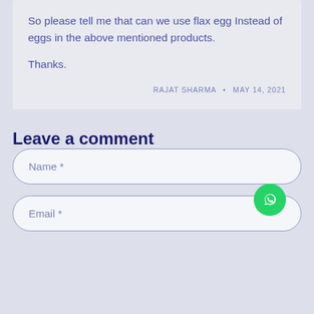So please tell me that can we use flax egg Instead of eggs in the above mentioned products.

Thanks.
RAJAT SHARMA • MAY 14, 2021
Leave a comment
Name *
Email *